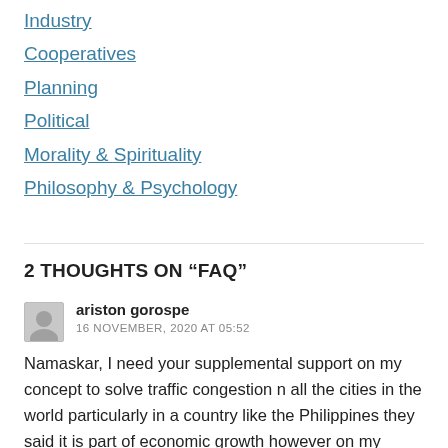Industry
Cooperatives
Planning
Political
Morality & Spirituality
Philosophy & Psychology
2 THOUGHTS ON “FAQ”
ariston gorospe
16 NOVEMBER, 2020 AT 05:52
Namaskar, I need your supplemental support on my concept to solve traffic congestion n all the cities in the world particularly in a country like the Philippines they said it is part of economic growth however on my researched and observational assessment. they build and